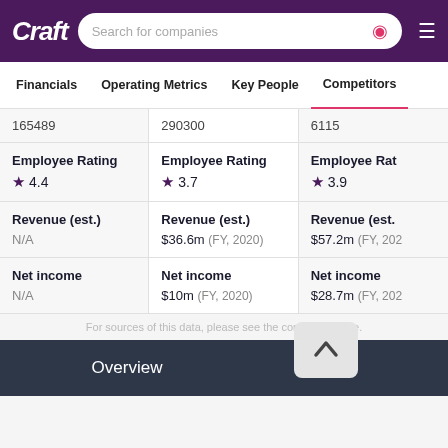Craft — Search for companies
Financials | Operating Metrics | Key People | Competitors
| Company 1 | Company 2 | Company 3 |
| --- | --- | --- |
| 165489 | 290300 | 6115 |
| Employee Rating ★ 4.4 | Employee Rating ★ 3.7 | Employee Rat… ★ 3.9 |
| Revenue (est.) N/A | Revenue (est.) $36.6m (FY, 2020) | Revenue (est. $57.2m (FY, 202… |
| Net income N/A | Net income $10m (FY, 2020) | Net income $28.7m (FY, 202… |
For sources of this data, please see the company profile.
Overview   Charts